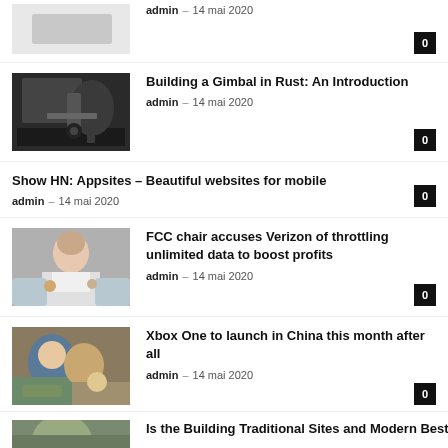[Figure (photo): Partial article image at top (light/white tones)]
admin – 14 mai 2020
Building a Gimbal in Rust: An Introduction
admin – 14 mai 2020
[Figure (photo): Person playing guitar in black outfit]
Show HN: Appsites – Beautiful websites for mobile
admin – 14 mai 2020
[Figure (photo): Woman smiling, holding coffee cup, blurred background]
FCC chair accuses Verizon of throttling unlimited data to boost profits
admin – 14 mai 2020
[Figure (photo): Person with child outdoors, colorful background]
Xbox One to launch in China this month after all
admin – 14 mai 2020
[Figure (photo): Partial bottom article image]